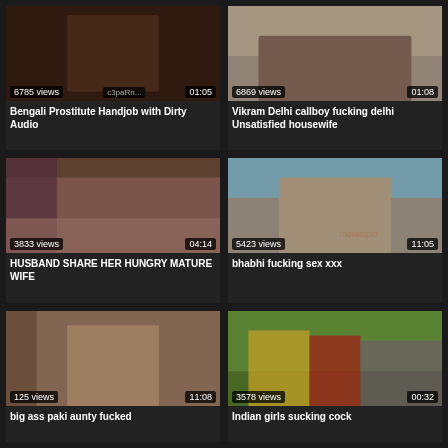[Figure (screenshot): Video thumbnail grid showing 6 video cards with thumbnails, view counts, durations, and titles]
Bengali Prostitute Handjob with Dirty Audio
Vikram Delhi callboy fucking delhi Unsatisfied housewife
HUSBAND SHARE HER HUNGRY MATURE WIFE
bhabhi fucking sex xxx
big ass paki aunty fucked
Indian girls sucking cock